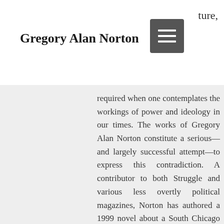Gregory Alan Norton
required when one contemplates the workings of power and ideology in our times. The works of Gregory Alan Norton constitute a serious—and largely successful attempt—to express this contradiction. A contributor to both Struggle and various less overtly political magazines, Norton has authored a 1999 novel about a South Chicago wildcat strike, titled There Ain't No Justice, Just Us (a chapter of which is posted at the Struggle web site), as well as, more recently, a short story cycle titled An Infinity of Days in the Psychotic Atomik